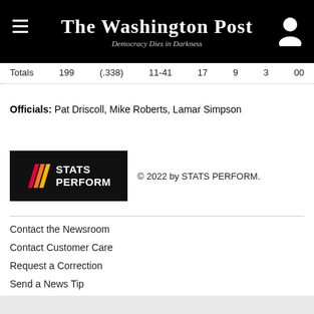The Washington Post — Democracy Dies in Darkness
| Totals | 199 | (.338) | 11-41 | 17 | 9 | 3 | 00 |
Officials: Pat Driscoll, Mike Roberts, Lamar Simpson
[Figure (logo): STATS PERFORM logo with colored diagonal stripes on black background]
© 2022 by STATS PERFORM.
Contact the Newsroom
Contact Customer Care
Request a Correction
Send a News Tip
Download The Washington Post App
Policies & Standards
Terms of Service